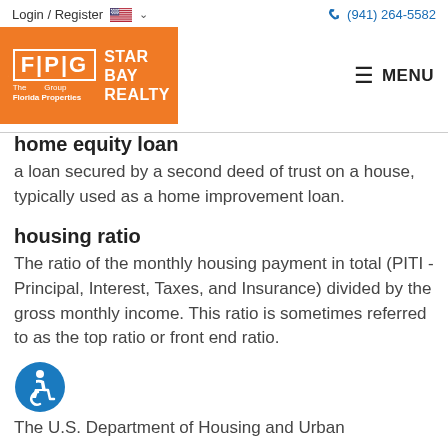Login / Register   (941) 264-5582
[Figure (logo): FPG Star Bay Realty - The Florida Properties Group logo on orange background]
home equity loan
a loan secured by a second deed of trust on a house, typically used as a home improvement loan.
housing ratio
The ratio of the monthly housing payment in total (PITI - Principal, Interest, Taxes, and Insurance) divided by the gross monthly income. This ratio is sometimes referred to as the top ratio or front end ratio.
[Figure (illustration): Accessibility icon - blue circle with white wheelchair user symbol]
The U.S. Department of Housing and Urban